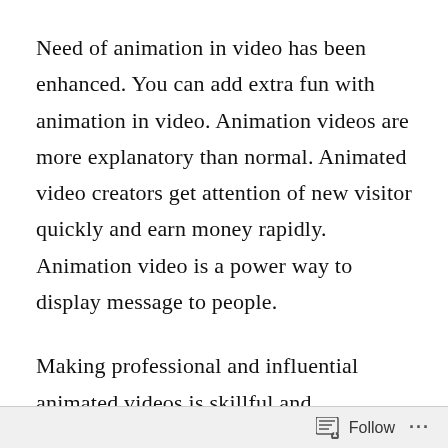Need of animation in video has been enhanced. You can add extra fun with animation in video. Animation videos are more explanatory than normal. Animated video creators get attention of new visitor quickly and earn money rapidly. Animation video is a power way to display message to people.
Making professional and influential animated videos is skillful and knowledgeable job. You need a training to make such videos. It takes long time to learn all tips and tricks of making animation videos. But technology has
Follow ···